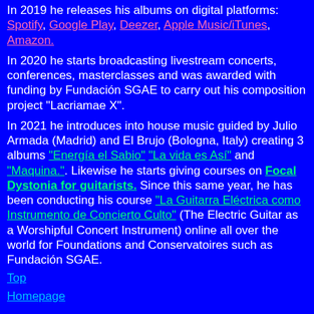In 2019 he releases his albums on digital platforms: Spotify, Google Play, Deezer, Apple Music/iTunes, Amazon.
In 2020 he starts broadcasting livestream concerts, conferences, masterclasses and was awarded with funding by Fundación SGAE to carry out his composition project "Lacriamae X".
In 2021 he introduces into house music guided by Julio Armada (Madrid) and El Brujo (Bologna, Italy) creating 3 albums "Energía el Sabio" "La vida es Así" and "Maquina.". Likewise he starts giving courses on Focal Dystonia for guitarists. Since this same year, he has been conducting his course "La Guitarra Eléctrica como Instrumento de Concierto Culto" (The Electric Guitar as a Worshipful Concert Instrument) online all over the world for Foundations and Conservatoires such as Fundación SGAE.
Top
Homepage